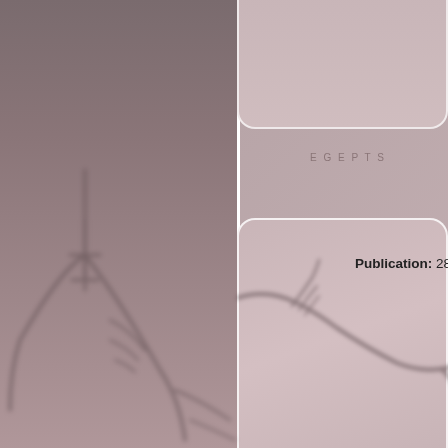Publication: 28.02.2020 Durati...
[Figure (other): Medical imaging page showing what appears to be an ECG or coronary angiogram tracing. Left portion shows a blurred/defocused angiographic image with vessel outlines. Right portion contains two rounded UI cards on a muted rose background. The top card is partially visible at the top. The lower card shows the text 'Publication: 28.02.2020 Durati' (truncated) and a blurred angiographic vessel tracing running across the lower portion.]